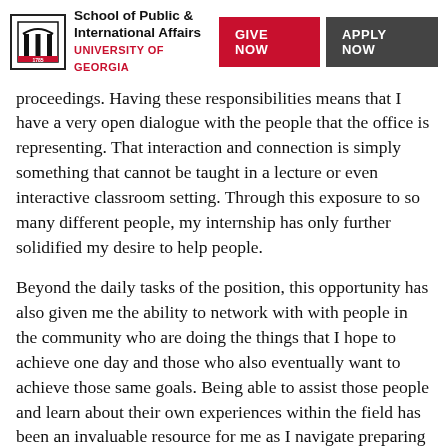School of Public & International Affairs | UNIVERSITY OF GEORGIA | GIVE NOW | APPLY NOW
proceedings. Having these responsibilities means that I have a very open dialogue with the people that the office is representing. That interaction and connection is simply something that cannot be taught in a lecture or even interactive classroom setting. Through this exposure to so many different people, my internship has only further solidified my desire to help people.
Beyond the daily tasks of the position, this opportunity has also given me the ability to network with with people in the community who are doing the things that I hope to achieve one day and those who also eventually want to achieve those same goals. Being able to assist those people and learn about their own experiences within the field has been an invaluable resource for me as I navigate preparing to attend law school myself. As they have taught me so much, I am